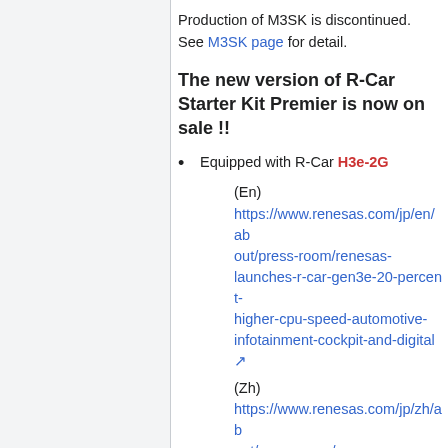Production of M3SK is discontinued. See M3SK page for detail.
The new version of R-Car Starter Kit Premier is now on sale !!
Equipped with R-Car H3e-2G
(En) https://www.renesas.com/jp/en/about/press-room/renesas-launches-r-car-gen3e-20-percent-higher-cpu-speed-automotive-infotainment-cockpit-and-digital
(Zh) https://www.renesas.com/jp/zh/about/press-room/renesas-launches-r-car-gen3e-20-percent-higher-cpu-speed-automotive-infotainment-cockpit-and-digital